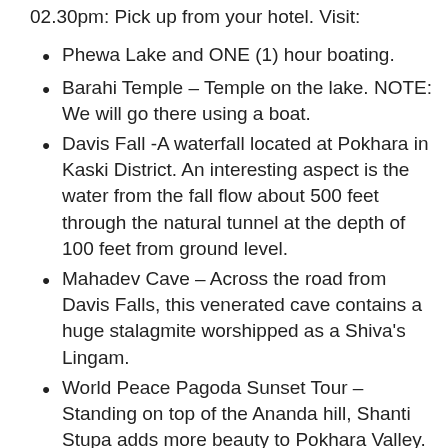02.30pm: Pick up from your hotel. Visit:
Phewa Lake and ONE (1) hour boating.
Barahi Temple – Temple on the lake. NOTE: We will go there using a boat.
Davis Fall -A waterfall located at Pokhara in Kaski District. An interesting aspect is the water from the fall flow about 500 feet through the natural tunnel at the depth of 100 feet from ground level.
Mahadev Cave – Across the road from Davis Falls, this venerated cave contains a huge stalagmite worshipped as a Shiva's Lingam.
World Peace Pagoda Sunset Tour – Standing on top of the Ananda hill, Shanti Stupa adds more beauty to Pokhara Valley. It is a perfect holiday place providing a clear view of the Himalayan range of mountains, Phewa Lake and